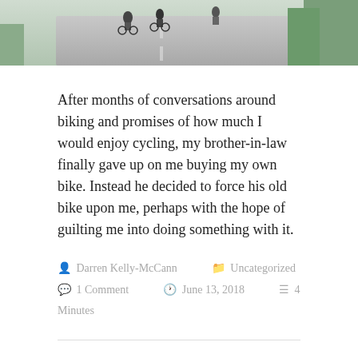[Figure (photo): Partial photo of cyclists riding on a road, green vegetation visible on the right side. Only the bottom portion of the image is visible.]
After months of conversations around biking and promises of how much I would enjoy cycling, my brother-in-law finally gave up on me buying my own bike. Instead he decided to force his old bike upon me, perhaps with the hope of guilting me into doing something with it.
Darren Kelly-McCann  Uncategorized  1 Comment  June 13, 2018  4 Minutes
Turning a corner